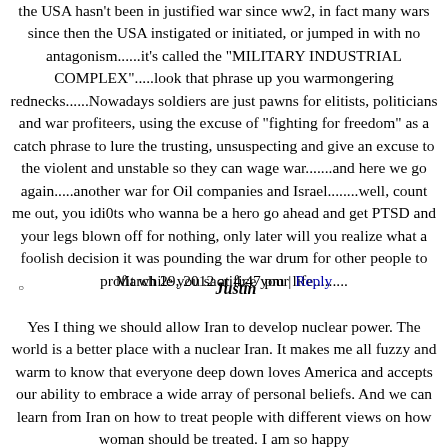the USA hasn't been in justified war since ww2, in fact many wars since then the USA instigated or initiated, or jumped in with no antagonism......it's called the "MILITARY INDUSTRIAL COMPLEX".....look that phrase up you warmongering rednecks......Nowadays soldiers are just pawns for elitists, politicians and war profiteers, using the excuse of "fighting for freedom" as a catch phrase to lure the trusting, unsuspecting and give an excuse to the violent and unstable so they can wage war.......and here we go again.....another war for Oil companies and Israel........well, count me out, you idi0ts who wanna be a hero go ahead and get PTSD and your legs blown off for nothing, only later will you realize what a foolish decision it was pounding the war drum for other people to profit while you sacrifice your life.........
March 29, 2012 at 4:47 pm | Reply
Justin
Yes I thing we should allow Iran to develop nuclear power. The world is a better place with a nuclear Iran. It makes me all fuzzy and warm to know that everyone deep down loves America and accepts our ability to embrace a wide array of personal beliefs. And we can learn from Iran on how to treat people with different views on how woman should be treated. I am so happy